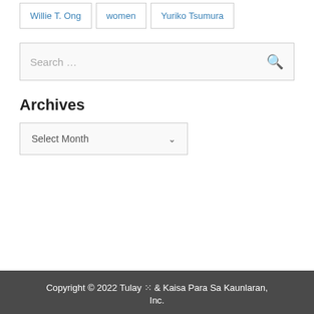Willie T. Ong
women
Yuriko Tsumura
Search …
Archives
Select Month
Copyright © 2022 Tulay ⁙ & Kaisa Para Sa Kaunlaran, Inc.